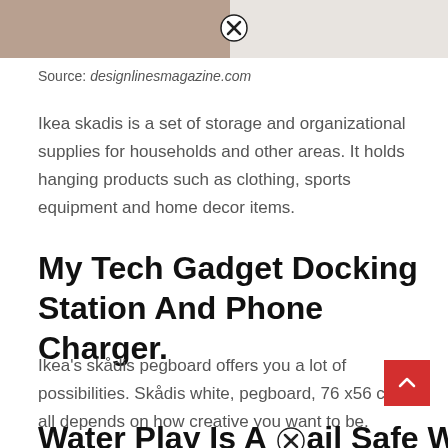[Figure (photo): Partial photo showing towels hanging in a bathroom/storage scene with tiles in background. A close/X button overlay is visible.]
Source: designlinesmagazine.com
Ikea skadis is a set of storage and organizational supplies for households and other areas. It holds hanging products such as clothing, sports equipment and home decor items.
My Tech Gadget Docking Station And Phone Charger.
Ikea's skådis pegboard offers you a lot of possibilities. Skådis white, pegboard, 76 x56 cm. It all depends on how creative you want to be.
Water Play Is A ⓧail Safe Way Of